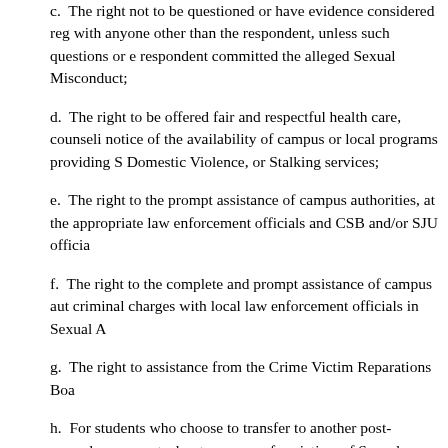c.  The right not to be questioned or have evidence considered regarding sexual history with anyone other than the respondent, unless such questions or evidence relate to whether the respondent committed the alleged Sexual Misconduct;
d.  The right to be offered fair and respectful health care, counseling, and written notice of the availability of campus or local programs providing Sexual Assault, Domestic Violence, or Stalking services;
e.  The right to the prompt assistance of campus authorities, at the request of the victim, to notify appropriate law enforcement officials and CSB and/or SJU officials;
f.  The right to the complete and prompt assistance of campus authorities in filing criminal charges with local law enforcement officials in Sexual Assault cases;
g.  The right to assistance from the Crime Victim Reparations Board;
h.  For students who choose to transfer to another post-secondary institution, information, upon request, about resources for victims of Sexual Assault at the institution to which they transfer;
C.  Additional Rights in Cases Involving Allegations of Sexual Assault, Dating Violence, or Stalking Occurring Outside of the Education Program or Activity of the University in the United States
In cases involving allegations of Sexual Assault, Domestic Violence, Dating Violence, or Stalking outside of the education program or activity or against a person outside of the United States: